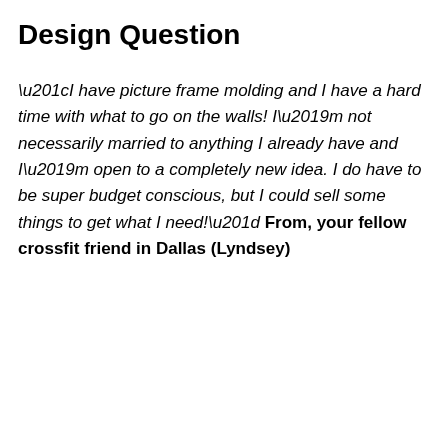Design Question
“I have picture frame molding and I have a hard time with what to go on the walls! I’m not necessarily married to anything I already have and I’m open to a completely new idea. I do have to be super budget conscious, but I could sell some things to get what I need!” From, your fellow crossfit friend in Dallas (Lyndsey)